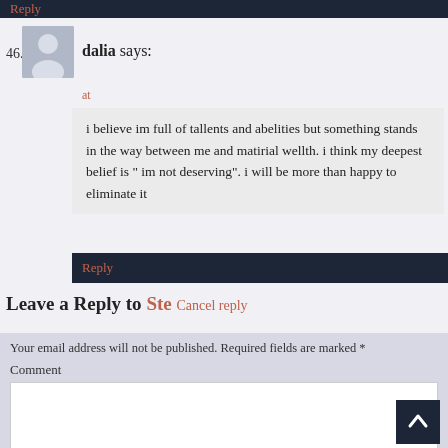Reply
46. dalia says:
at
i believe im full of tallents and abelities but something stands in the way between me and matirial wellth. i think my deepest belief is " im not deserving". i will be more than happy to eliminate it
Reply
Leave a Reply to Ste Cancel reply
Your email address will not be published. Required fields are marked *
Comment